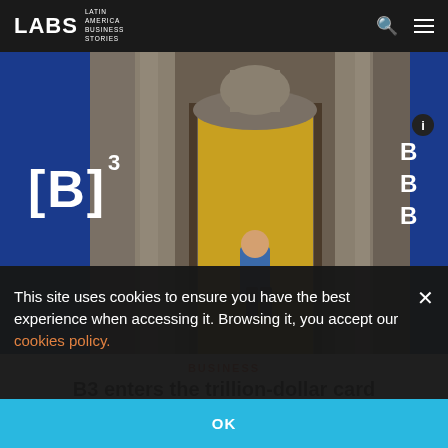LABS LATIN AMERICA BUSINESS STORIES
[Figure (photo): Exterior of B3 (Brazil's stock exchange) building with blue banners showing the [B]³ logo, a person in a blue shirt entering through a grand stone doorway with a yellow-lit interior]
BUSINESS
B3 enters the trillion-dollar card receivables party in Brazil:
This site uses cookies to ensure you have the best experience when accessing it. Browsing it, you accept our cookies policy.
OK